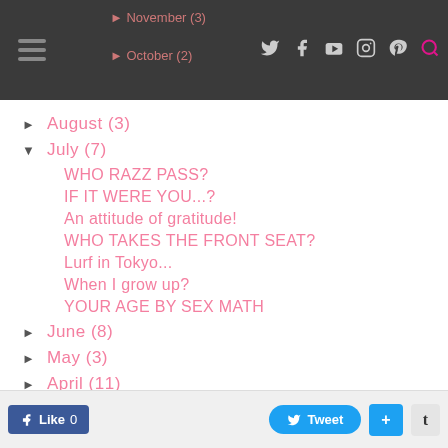Navigation bar with hamburger menu, November (3), October (2) links, and social icons
► August (3)
▼ July (7)
WHO RAZZ PASS?
IF IT WERE YOU...?
An attitude of gratitude!
WHO TAKES THE FRONT SEAT?
Lurf in Tokyo...
When I grow up?
YOUR AGE BY SEX MATH
► June (8)
► May (3)
► April (11)
Like 0   Tweet   +   t